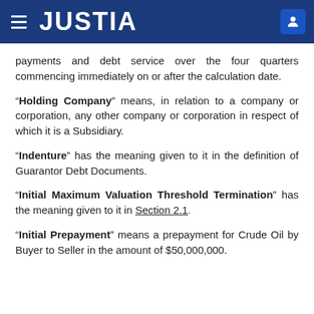JUSTIA
payments and debt service over the four quarters commencing immediately on or after the calculation date.
“Holding Company” means, in relation to a company or corporation, any other company or corporation in respect of which it is a Subsidiary.
“Indenture” has the meaning given to it in the definition of Guarantor Debt Documents.
“Initial Maximum Valuation Threshold Termination” has the meaning given to it in Section 2.1.
“Initial Prepayment” means a prepayment for Crude Oil by Buyer to Seller in the amount of $50,000,000.